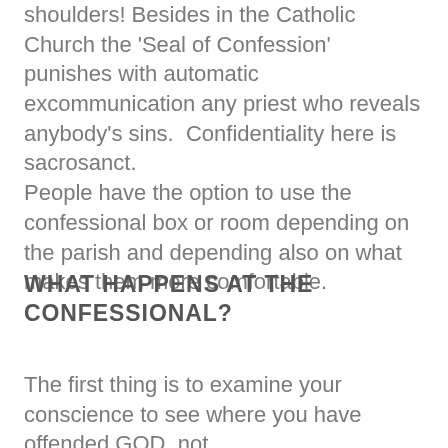shoulders! Besides in the Catholic Church the 'Seal of Confession' punishes with automatic excommunication any priest who reveals anybody's sins.  Confidentiality here is sacrosanct.
People have the option to use the confessional box or room depending on the parish and depending also on what  makes them more comfortable.
WHAT HAPPENS AT THE CONFESSIONAL?
The first thing is to examine your conscience to see where you have offended GOD, not